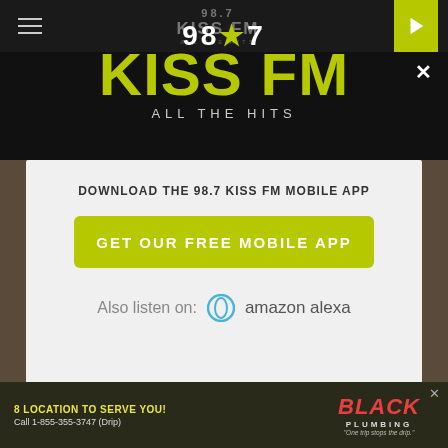98.7 KISS FM ALL THE HITS
[Figure (logo): 98.7 KISS FM All The Hits logo, large format, white and yellow-green on black background]
DOWNLOAD THE 98.7 KISS FM MOBILE APP
GET OUR FREE MOBILE APP
Also listen on: amazon alexa
[Figure (infographic): Advertisement banner: 8 LOCATION TO SERVE YOU! Call 1-855-355-3747 (Drip) Black Plumbing 'One trip stops the drip.']